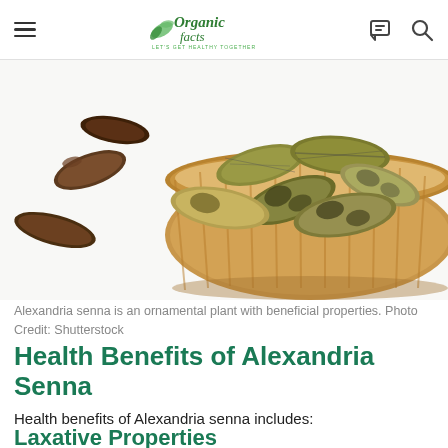Organic Facts — LET'S GET HEALTHY TOGETHER
[Figure (photo): Senna pods and seeds in a wicker basket on a white background, with loose senna pods scattered nearby]
Alexandria senna is an ornamental plant with beneficial properties. Photo Credit: Shutterstock
Health Benefits of Alexandria Senna
Health benefits of Alexandria senna includes:
Laxative Properties